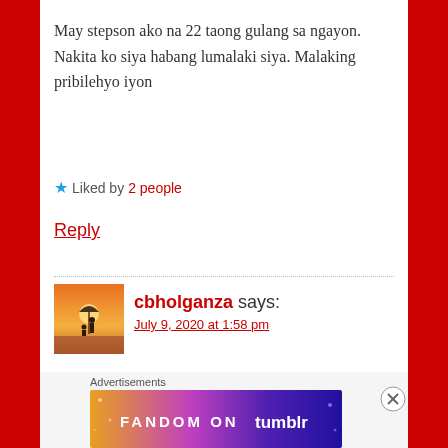May stepson ako na 22 taong gulang sa ngayon. Nakita ko siya habang lumalaki siya. Malaking pribilehyo iyon
★ Liked by 2 people
Reply
cbholganza says:
July 9, 2020 at 1:58 pm
sabihan mo sya, gumawa na kagad ng apo
Advertisements
[Figure (illustration): Tumblr Fandom advertisement banner with gradient purple-orange background]